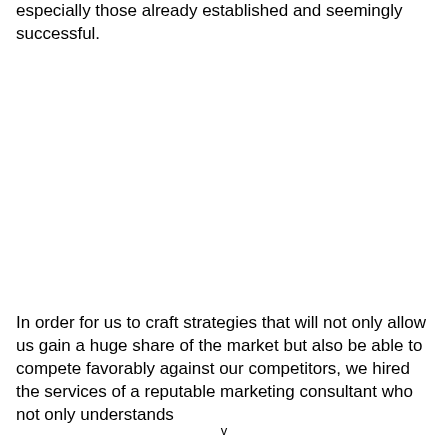especially those already established and seemingly successful.
In order for us to craft strategies that will not only allow us gain a huge share of the market but also be able to compete favorably against our competitors, we hired the services of a reputable marketing consultant who not only understands
v